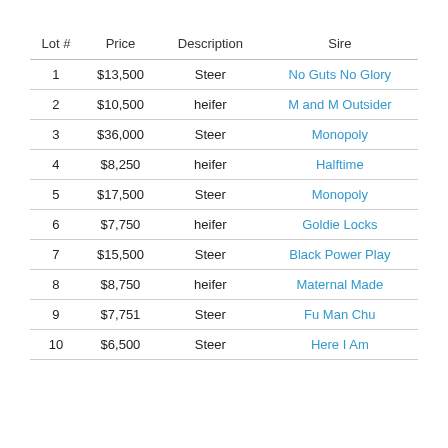| Lot # | Price | Description | Sire |
| --- | --- | --- | --- |
| 1 | $13,500 | Steer | No Guts No Glory |
| 2 | $10,500 | heifer | M and M Outsider |
| 3 | $36,000 | Steer | Monopoly |
| 4 | $8,250 | heifer | Halftime |
| 5 | $17,500 | Steer | Monopoly |
| 6 | $7,750 | heifer | Goldie Locks |
| 7 | $15,500 | Steer | Black Power Play |
| 8 | $8,750 | heifer | Maternal Made |
| 9 | $7,751 | Steer | Fu Man Chu |
| 10 | $6,500 | Steer | Here I Am |